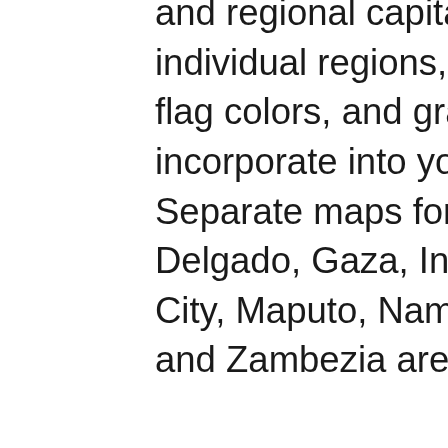and regional capitals, separate maps showing individual regions, a map in the Mozambican flag colors, and graphs and icons that you can incorporate into your PowerPoint presentations. Separate maps for the provinces of Cabo Delgado, Gaza, Inhamban, Manica, Maputo City, Maputo, Nampula, Niassa, Sofala, Tete, and Zambezia are included.
Our team of PowerPoint formatting professionals has created these slides to ensure that you can cut your preparation time in half as you build on their editable features. Add data, graphics, and text to customize the slides to suit your needs. You can create 3D effects, shadow effects, change colors, and backgrounds and still find the image elements scalable. Download now and see the